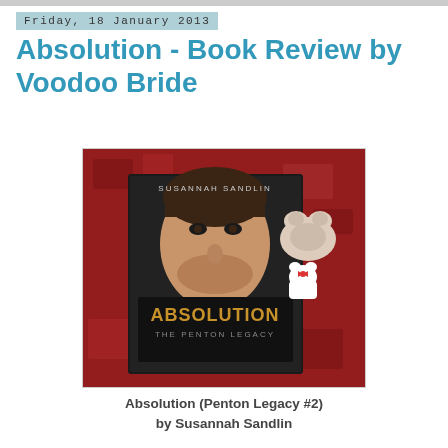Friday, 18 January 2013
Absolution - Book Review by Voodoo Bride
[Figure (photo): Photo of the book 'Absolution: The Penton Legacy' by Susannah Sandlin lying on a red patterned rug, with a small stuffed animal toy beside it. The book cover shows a man's face and gold/orange text reading 'Absolution The Penton Legacy'.]
Absolution (Penton Legacy #2)
by Susannah Sandlin
What is it about:
With the vampire world on the brink of civil war over the scarcity of untainted human blood, battle lines are being